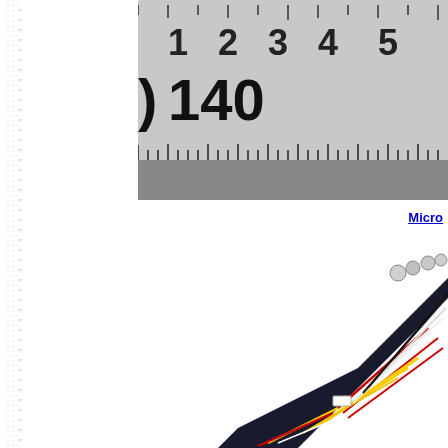[Figure (photo): Close-up photo of a ruler/scale showing millimeter markings with numbers 1, 2, 3, 4, 5 visible at top and '140' visible in the middle section. The ruler has tick marks along the bottom edge.]
Micro
[Figure (photo): Photo of a bundle of colored wires (red, yellow, white, black) coming from a connector, splayed out at different angles. The wires appear to be electronic connectors or cable harness components.]